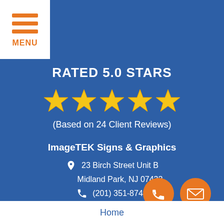[Figure (logo): Hamburger menu icon with three orange lines and MENU label on white background]
RATED 5.0 STARS
[Figure (infographic): Five gold/yellow star rating icons in a row]
(Based on 24 Client Reviews)
ImageTEK Signs & Graphics
23 Birch Street Unit B
Midland Park, NJ 07432
(201) 351-8748
Fax: 862-926-1280
8am to 5pm Mon-Fri
Home